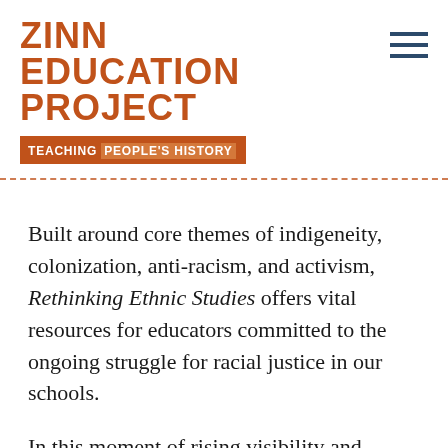ZINN EDUCATION PROJECT
TEACHING PEOPLE'S HISTORY
Built around core themes of indigeneity, colonization, anti-racism, and activism, Rethinking Ethnic Studies offers vital resources for educators committed to the ongoing struggle for racial justice in our schools.
In this moment of rising visibility and normalization of systemic, intersectional, and organized racism, we must more deeply understand the legacies of white